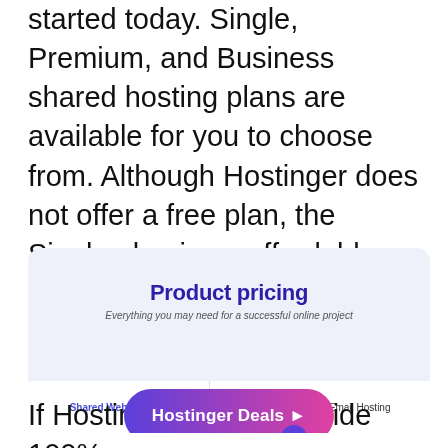started today. Single, Premium, and Business shared hosting plans are available for you to choose from. Although Hostinger does not offer a free plan, the Single plan is so affordable that it almost feels like one. If I were you, this would be an excellent place to begin.
[Figure (screenshot): Hostinger product pricing widget showing 'Product pricing' heading, subtitle 'Everything you may need for a successful online project', tabs for 'Shared Web Hosting' and 'Email Hosting', and a prominent 'Hostinger Deals ▶' button with gradient background.]
If Hostinger fails to provide 100%